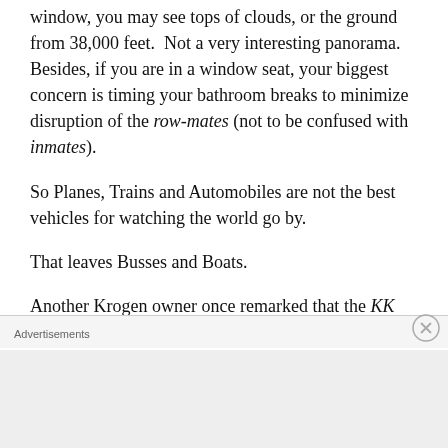window, you may see tops of clouds, or the ground from 38,000 feet.  Not a very interesting panorama.  Besides, if you are in a window seat, your biggest concern is timing your bathroom breaks to minimize disruption of the row-mates (not to be confused with inmates).
So Planes, Trains and Automobiles are not the best vehicles for watching the world go by.
That leaves Busses and Boats.
Another Krogen owner once remarked that the KK affords us the opportunity to watch the world pass by from our living room.
Advertisements